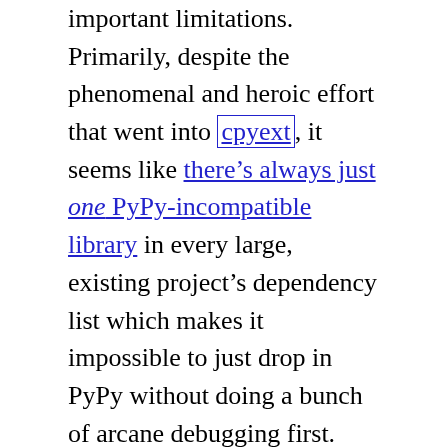important limitations. Primarily, despite the phenomenal and heroic effort that went into cpyext, it seems like there's always just one PyPy-incompatible library in every large, existing project's dependency list which makes it impossible to just drop in PyPy without doing a bunch of arcane debugging first.
PyPy might make your program magically much faster, but if it doesn't work, you have to read the tea leaves on the JIT's behavior in a profiler which practically requires an online component that doesn't